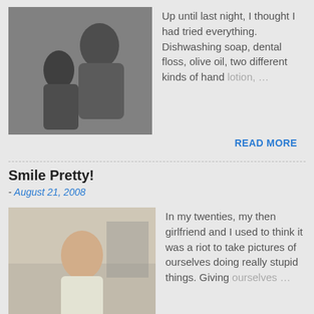[Figure (photo): Photo of two people, one appears to be giving the other a piggyback ride or wrestling]
Up until last night, I thought I had tried everything. Dishwashing soap, dental floss, olive oil, two different kinds of hand lotion, …
READ MORE
Smile Pretty!
- August 21, 2008
[Figure (photo): Photo of a young person sitting at a table]
In my twenties, my then girlfriend and I used to think it was a riot to take pictures of ourselves doing really stupid things. Giving ourselves …
READ MORE
Oops, I Did It Again
- August 03, 2008